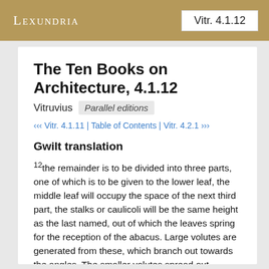Lexundria   Vitr. 4.1.12
The Ten Books on Architecture, 4.1.12
Vitruvius   Parallel editions
‹‹‹ Vitr. 4.1.11 | Table of Contents | Vitr. 4.2.1 ›››
Gwilt translation
12 the remainder is to be divided into three parts, one of which is to be given to the lower leaf, the middle leaf will occupy the space of the next third part, the stalks or caulicoli will be the same height as the last named, out of which the leaves spring for the reception of the abacus. Large volutes are generated from these, which branch out towards the angles. The smaller volutes spread out towards the flowers, which are introduced in the centre of each abacus. Flowers whose diameters are equal to the height of the abacus, are to be placed in the central